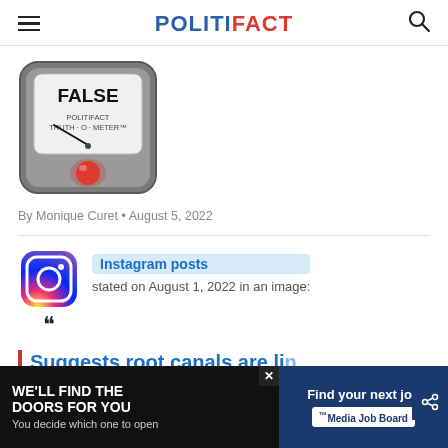POLITIFACT
[Figure (illustration): PolitiFact Truth-O-Meter gauge showing 'FALSE' rating with needle pointing left and red indicator light, gray rounded square background]
By Monique Curet • August 5, 2022
[Figure (logo): Instagram logo icon (colorful gradient circle with camera icon)]
Instagram posts stated on August 1, 2022 in an image:
Suggests root canals are linked to...
[Figure (other): Advertisement banner: left side black background 'WE'LL FIND THE DOORS FOR YOU You decide which one to open' with silhouette figure; right side dark blue 'Find your next job' with Media Job Board logo]